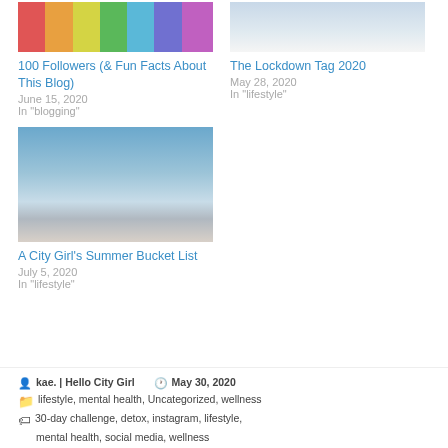[Figure (photo): Colorful pixel/brick background with emoji balloon character]
100 Followers (& Fun Facts About This Blog)
June 15, 2020
In "blogging"
[Figure (photo): Sky and horizon, light blue and white]
The Lockdown Tag 2020
May 28, 2020
In "lifestyle"
[Figure (photo): Girl with hair bun seen from behind, sitting by sparkling sea/water]
A City Girl's Summer Bucket List
July 5, 2020
In "lifestyle"
kae. | Hello City Girl   May 30, 2020
lifestyle, mental health, Uncategorized, wellness
30-day challenge, detox, instagram, lifestyle, mental health, social media, wellness